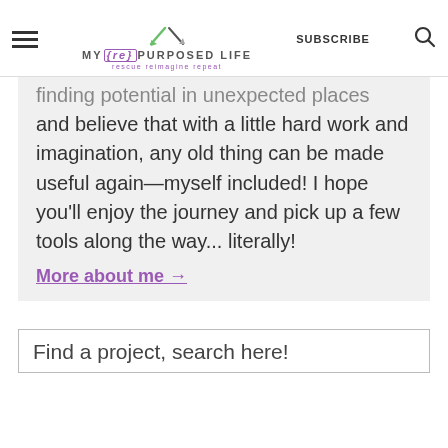MY {re} PURPOSED LIFE — rescue reimagine repeat | SUBSCRIBE | [search icon]
finding potential in unexpected places and believe that with a little hard work and imagination, any old thing can be made useful again—myself included! I hope you'll enjoy the journey and pick up a few tools along the way... literally!
More about me →
Find a project, search here!